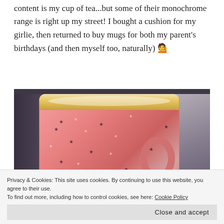content is my cup of tea...but some of their monochrome range is right up my street! I bought a cushion for my girlie, then returned to buy mugs for both my parent's birthdays (and then myself too, naturally) 💁
[Figure (photo): Close-up photograph of a pink mug with stars pattern and gold rim, with text partially visible on the mug, set against a dark background]
Privacy & Cookies: This site uses cookies. By continuing to use this website, you agree to their use.
To find out more, including how to control cookies, see here: Cookie Policy
Close and accept